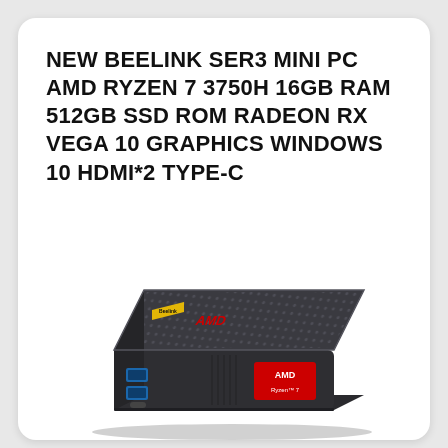NEW BEELINK SER3 MINI PC AMD RYZEN 7 3750H 16GB RAM 512GB SSD ROM RADEON RX VEGA 10 GRAPHICS WINDOWS 10 HDMI*2 TYPE-C
[Figure (photo): Beelink SER3 Mini PC computer, dark gray/black color, with mesh top panel, USB ports on the front, and AMD branding label visible on the front face.]